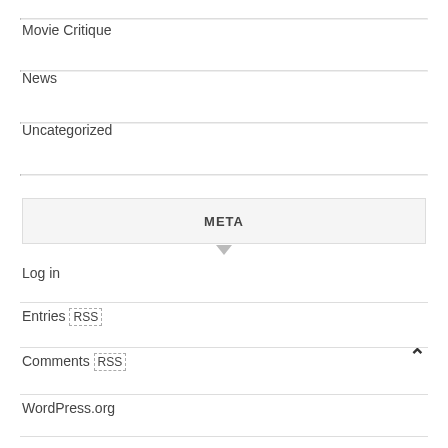Movie Critique
News
Uncategorized
META
Log in
Entries RSS
Comments RSS
WordPress.org